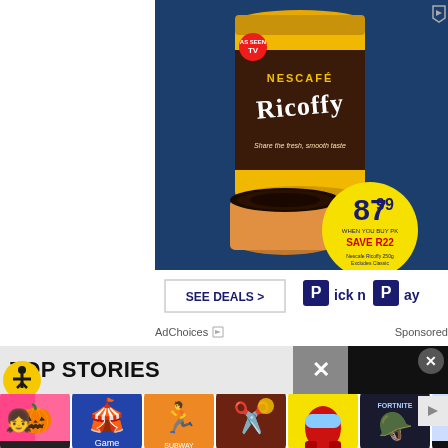[Figure (advertisement): Nescafe Ricoffy coffee advertisement for Pick n Pay showing a yellow tin of Ricoffy, a cup of coffee, price badge showing 87.99 with SAVE R22, SEE DEALS button and Pick n Pay logo]
AdChoices  Sponsored
TOP STORIES
[Figure (screenshot): Row of app icons at the bottom including Toca Boca, a character game, Subway Surfers, a game with scissors/pin, Among Us (red character), Fortnite, and miHoYo game]